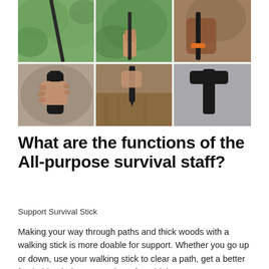[Figure (photo): A collage of 6 outdoor survival/bushcraft photos arranged in a 3x2 grid showing hands gripping a survival staff/stick tool in various outdoor woodland settings with green foliage backgrounds.]
What are the functions of the All-purpose survival staff?
Support Survival Stick
Making your way through paths and thick woods with a walking stick is more doable for support. Whether you go up or down, use your walking stick to clear a path, get a better foothold or help get you down for a high spot. You can use your footstool as breaks to prevent your pace from going down or latch it onto a rock or fissure if you climb. In addition to yourself, you can also use your stick